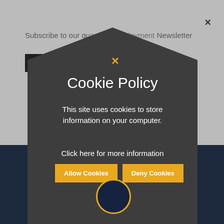Subscribe to our quarterly Employment Newsletter
Subscribe
×
Cookie Policy
This site uses cookies to store information on your computer.
Click here for more information
Allow Cookies
Deny Cookies